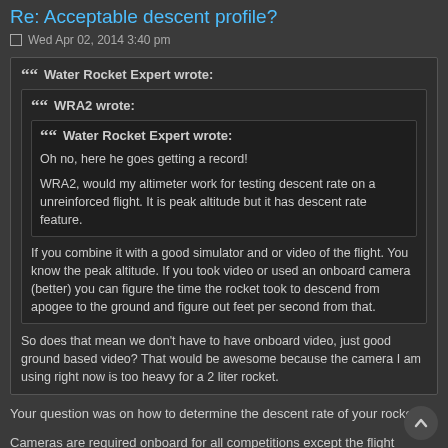Re: Acceptable descent profile?
Wed Apr 02, 2014 3:40 pm
Water Rocket Expert wrote:
WRA2 wrote:
Water Rocket Expert wrote:
Oh no, here he goes getting a record!

WRA2, would my altimeter work for testing descent rate on a unreinforced flight. It is peak altitude but it has descent rate feature.

If you combine it with a good simulator and or video of the flight. You know the peak altitude. If you took video or used an onboard camera (better) you can figure the time the rocket took to descend from apogee to the ground and figure out feet per second from that.

So does that mean we don't have to have onboard video, just good ground based video? That would be awesome because the camera I am using right now is too heavy for a 2 liter rocket.
Your question was on how to determine the descent rate of your rocket.
Cameras are required onboard for all competitions except the flight duration: